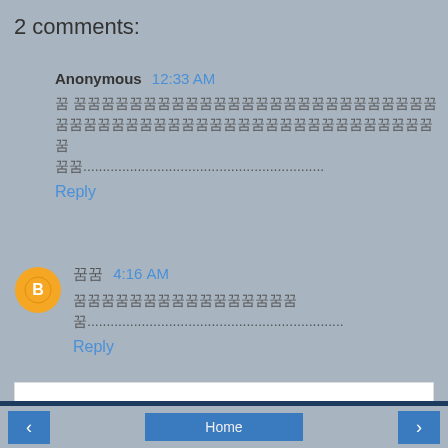2 comments:
Anonymous 12:33 AM
꿈꿈꿈꿈꿈꿈꿈꿈꿈꿈꿈꿈꿈꿈꿈꿈꿈꿈꿈꿈꿈꿈꿈꿈꿈꿈꿈꿈꿈꿈꿈꿈꿈꿈꿈꿈꿈꿈꿈꿈꿈꿈...
꿈꿈...
Reply
꿈꿈 4:16 AM
꿈꿈꿈꿈꿈꿈꿈꿈꿈꿈꿈꿈꿈꿈꿈꿈...
Reply
To leave a comment, click the button below to sign in with Google.
SIGN IN WITH GOOGLE
Home